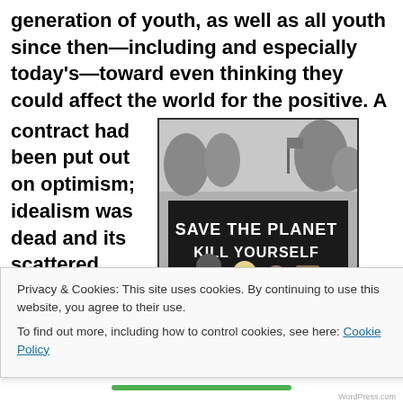generation of youth, as well as all youth since then—including and especially today's—toward even thinking they could affect the world for the positive. A
contract had been put out on optimism; idealism was dead and its scattered forces were ridiculed and
[Figure (photo): Black and white photo of a crowd at a protest. A large dark banner reads 'SAVE THE PLANET KILL YOURSELF' in large white letters. Trees and a flag can be seen in the background.]
Privacy & Cookies: This site uses cookies. By continuing to use this website, you agree to their use.
To find out more, including how to control cookies, see here: Cookie Policy
Close and accept